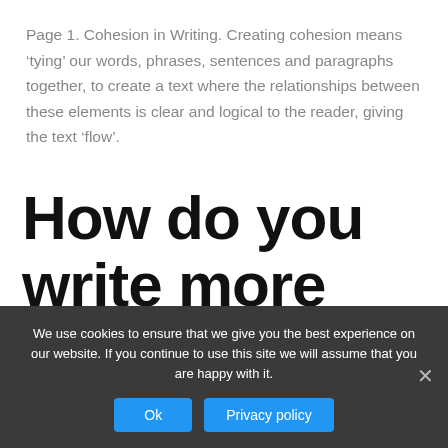Page 1. Cohesion in Writing. Creating cohesion means ‘tying’ our words, phrases, sentences and paragraphs together, to create a text where the relationships between these elements is clear and logical to the reader, giving the text ‘flow’.
How do you write more cohesive?
What is Cohesion?
We use cookies to ensure that we give you the best experience on our website. If you continue to use this site we will assume that you are happy with it.